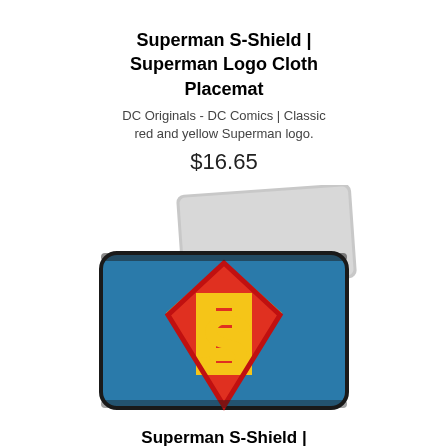Superman S-Shield | Superman Logo Cloth Placemat
DC Originals - DC Comics | Classic red and yellow Superman logo.
$16.65
[Figure (photo): Superman S-Shield laptop sleeve product photo — blue neoprene sleeve with the classic Superman logo (red shield with yellow S) and a laptop partially inserted at the top.]
Superman S-Shield | Superman Logo Laptop